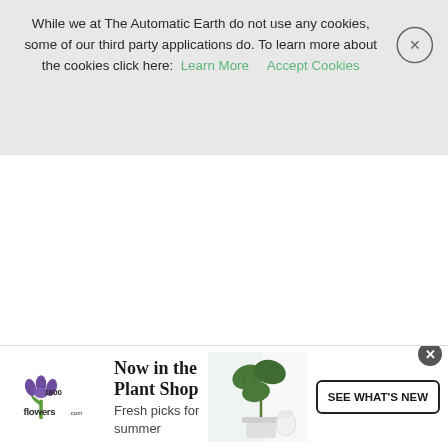While we at The Automatic Earth do not use any cookies, some of our third party applications do. To learn more about the cookies click here: Learn More   Accept Cookies
[Figure (screenshot): Advertisement banner for 1800flowers.com: 'Now in the Plant Shop, Fresh picks for summer' with a SEE WHAT'S NEW button and a photo of a monstera plant]